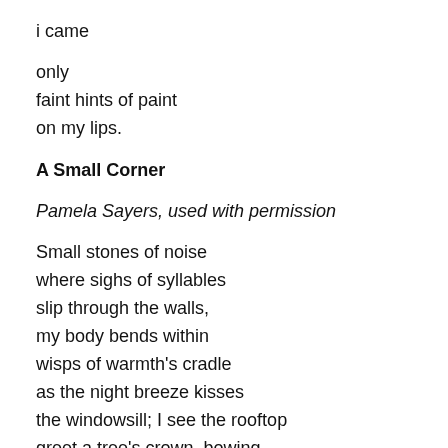i came
only
faint hints of paint
on my lips.
A Small Corner
Pamela Sayers, used with permission
Small stones of noise
where sighs of syllables
slip through the walls,
my body bends within
wisps of warmth's cradle
as the night breeze kisses
the windowsill; I see the rooftop
greet a tree's crown, bowing